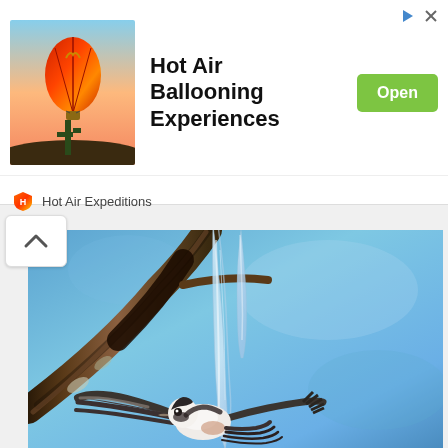[Figure (photo): Advertisement banner: photo of a red hot air balloon at sunset over desert landscape with cactus silhouette]
Hot Air Ballooning Experiences
Open
Hot Air Expeditions
[Figure (photo): Nature photo of a small white fluffy bird (long-tailed tit) in flight near a branch with icicles hanging from it, against a blue sky background]